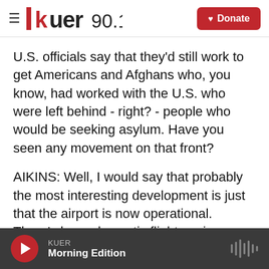KUER 90.1
U.S. officials say that they'd still work to get Americans and Afghans who, you know, had worked with the U.S. who were left behind - right? - people who would be seeking asylum. Have you seen any movement on that front?
AIKINS: Well, I would say that probably the most interesting development is just that the airport is now operational. There's been domestic flights going. There have been some international military flights that have come in from the Qataris and Turkey. And the Taliban have said that they're going to let anyone who
KUER Morning Edition